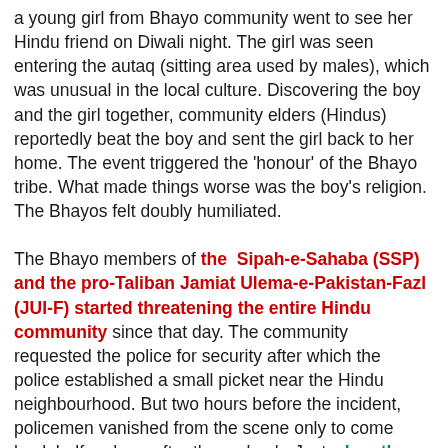a young girl from Bhayo community went to see her Hindu friend on Diwali night. The girl was seen entering the autaq (sitting area used by males), which was unusual in the local culture. Discovering the boy and the girl together, community elders (Hindus) reportedly beat the boy and sent the girl back to her home. The event triggered the 'honour' of the Bhayo tribe. What made things worse was the boy's religion. The Bhayos felt doubly humiliated.
The Bhayo members of the Sipah-e-Sahaba (SSP) and the pro-Taliban Jamiat Ulema-e-Pakistan-Fazl (JUI-F) started threatening the entire Hindu community since that day. The community requested the police for security after which the police established a small picket near the Hindu neighbourhood. But two hours before the incident, policemen vanished from the scene only to come back half an hour after the ambush. Just when the police pretended to start searching for the culprits, SSP and JUI-F workers gathered around the police station and amid the slogans of Allah-o-